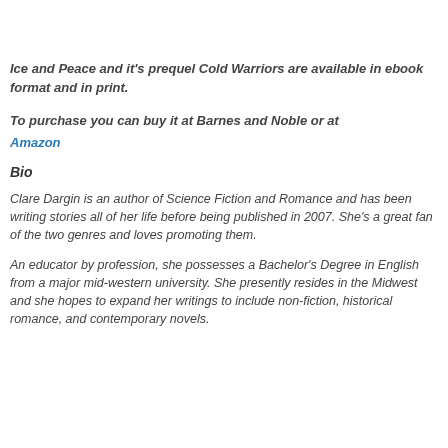Ice and Peace and it's prequel Cold Warriors are available in ebook format and in print.
To purchase you can buy it at Barnes and Noble or at
Amazon
Bio
Clare Dargin is an author of Science Fiction and Romance and has been writing stories all of her life before being published in 2007. She's a great fan of the two genres and loves promoting them.
An educator by profession, she possesses a Bachelor's Degree in English from a major mid-western university. She presently resides in the Midwest and she hopes to expand her writings to include non-fiction, historical romance, and contemporary novels.